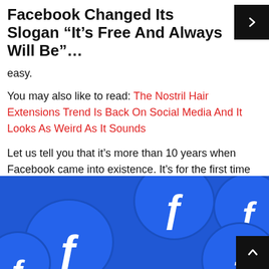Facebook Changed Its Slogan “It’s Free And Always Will Be”…
easy.
You may also like to read: The Nostril Hair Extensions Trend Is Back On Social Media And It Looks As Weird As It Sounds
Let us tell you that it’s more than 10 years when Facebook came into existence. It’s for the first time since it's inception that facebook has changed its slogan.
[Figure (photo): Blue circular Facebook logo tokens/buttons scattered on a surface, showing the white 'f' Facebook logo on a blue background.]